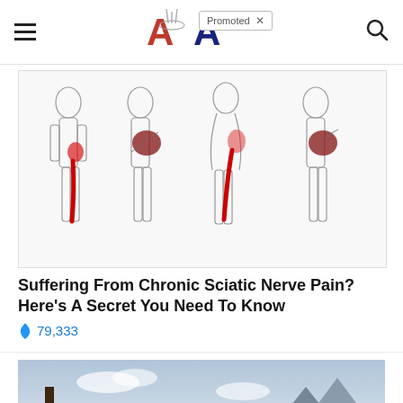≡  [Logo]  Promoted ×  🔍
[Figure (illustration): Medical illustration showing four human body silhouettes with sciatic nerve pain highlighted in red, showing different angles and stages of sciatic nerve pain running from the lower back down the leg.]
Suffering From Chronic Sciatic Nerve Pain? Here's A Secret You Need To Know
🔥 79,333
[Figure (photo): Photo of a desert cemetery with wooden crosses under a cloudy sky with mountains in the background, with a video play button overlay.]
Everyone Who Believes In God Should Watch This. It Will Blow Your Mind
🔥 2,847,036